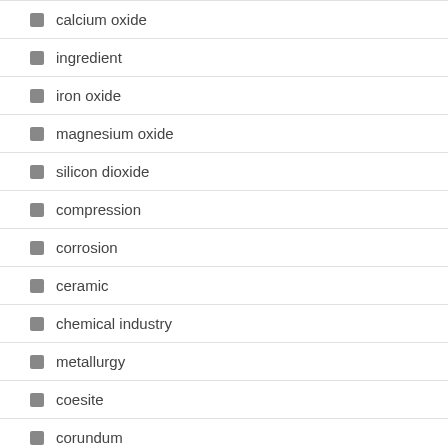calcium oxide
ingredient
iron oxide
magnesium oxide
silicon dioxide
compression
corrosion
ceramic
chemical industry
metallurgy
coesite
corundum
cristobalite